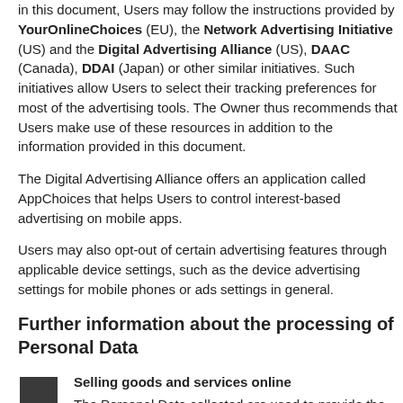in this document, Users may follow the instructions provided by YourOnlineChoices (EU), the Network Advertising Initiative (US) and the Digital Advertising Alliance (US), DAAC (Canada), DDAI (Japan) or other similar initiatives. Such initiatives allow Users to select their tracking preferences for most of the advertising tools. The Owner thus recommends that Users make use of these resources in addition to the information provided in this document.
The Digital Advertising Alliance offers an application called AppChoices that helps Users to control interest-based advertising on mobile apps.
Users may also opt-out of certain advertising features through applicable device settings, such as the device advertising settings for mobile phones or ads settings in general.
Further information about the processing of Personal Data
[Figure (illustration): Dark square icon with a small folded corner at bottom right, representing a tag or label]
Selling goods and services online
The Personal Data collected are used to provide the User with services or to sell goods, including payment and possible delivery.
The Personal Data collected to complete the payment may